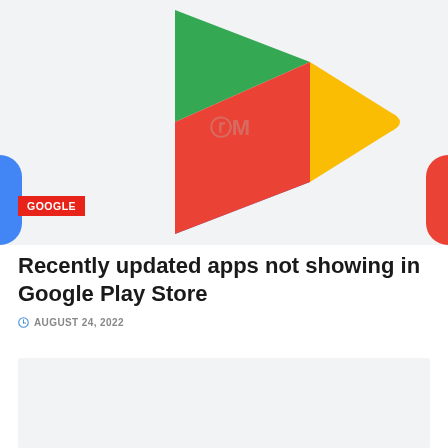[Figure (logo): Google Play Store logo - colorful triangle/play button shape with green, blue, red, and yellow sections on light gray background]
GOOGLE
Recently updated apps not showing in Google Play Store
AUGUST 24, 2022
[Figure (other): Light gray placeholder box at the bottom of the article]